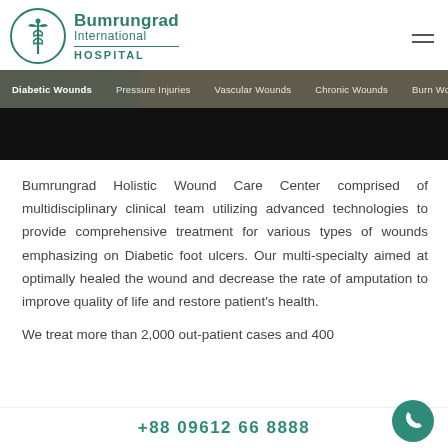[Figure (logo): Bumrungrad International Hospital logo with teal caduceus emblem in circle]
[Figure (screenshot): Navigation banner with menu items: Diabetic Wounds, Pressure Injuries, Vascular Wounds, Chronic Wounds, Burn Wounds over a hospital/medical background image]
Bumrungrad Holistic Wound Care Center comprised of multidisciplinary clinical team utilizing advanced technologies to provide comprehensive treatment for various types of wounds emphasizing on Diabetic foot ulcers. Our multi-specialty aimed at optimally healed the wound and decrease the rate of amputation to improve quality of life and restore patient's health.
We treat more than 2,000 out-patient cases and 400
+88 09612 66 8888